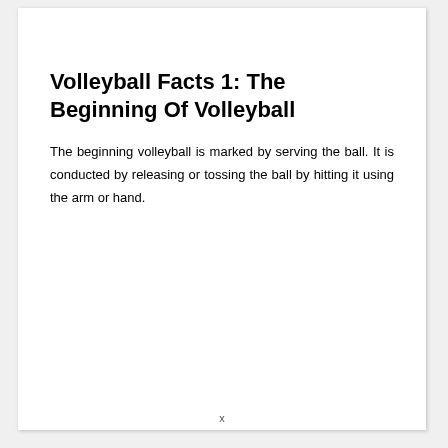Volleyball Facts 1: The Beginning Of Volleyball
The beginning volleyball is marked by serving the ball. It is conducted by releasing or tossing the ball by hitting it using the arm or hand.